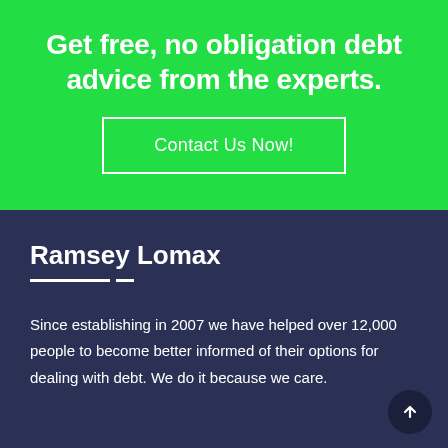Get free, no obligation debt advice from the experts.
Contact Us Now!
Ramsey Lomax
Since establishing in 2007 we have helped over 12,000 people to become better informed of their options for dealing with debt. We do it because we care.